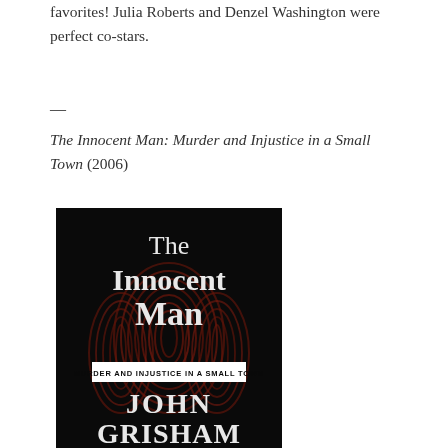favorites! Julia Roberts and Denzel Washington were perfect co-stars.
—
The Innocent Man: Murder and Injustice in a Small Town (2006)
[Figure (photo): Book cover of 'The Innocent Man: Murder and Injustice in a Small Town' by John Grisham. Dark background with large fingerprint texture. Title text in white serif font, subtitle in a white box, author name in large white letters at the bottom.]